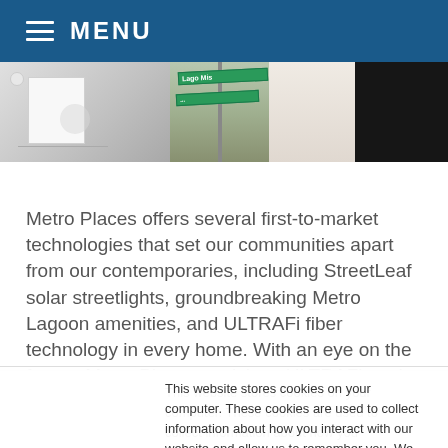MENU
[Figure (photo): Photo strip showing three images: a white bag/art installation, street signs including 'Lago Mis', and a person in black clothing with white knitwear]
Metro Places offers several first-to-market technologies that set our communities apart from our contemporaries, including StreetLeaf solar streetlights, groundbreaking Metro Lagoon amenities, and ULTRAFi fiber technology in every home. With an eye on the future, Metro Places envisions ULTRAFi as the cornerstone for future innovation, creating opportunities for residents to work, learn, play,
This website stores cookies on your computer. These cookies are used to collect information about how you interact with our website and allow us to remember you. We use this information in order to improve and customize your browsing experience and for analytics and metrics about our visitors both on this website and other media. To find out more about the cookies we use, see our Privacy Policy.
Accept